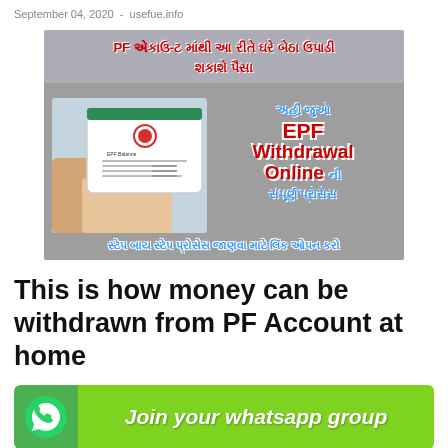September 04, 2020  -  usefue.info
[Figure (infographic): Gujarati-language banner about EPF withdrawal online. Text reads: PF એકાઉ-ટ માંથી આ રીતે ઘરે બેઠા ઉપાડી શકાશે પૈસા. Right side: અહીં જુઓ EPF Withdrawal Online ની સંપૂર્ણ પ્રોસેસ. Bottom: સ્ટેપ બાય સ્ટેપ પ્રોસેસ જાણવા માટે લિંક ઓપન કરો. Contains image of a tablet showing EPF Balance.]
This is how money can be withdrawn from PF Account at home
[Figure (infographic): WhatsApp group join banner with WhatsApp logo circle on left and green background with text: Join your whatsapp group]